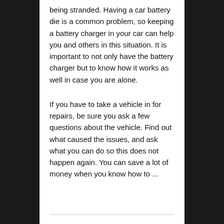being stranded. Having a car battery die is a common problem, so keeping a battery charger in your car can help you and others in this situation. It is important to not only have the battery charger but to know how it works as well in case you are alone.
If you have to take a vehicle in for repairs, be sure you ask a few questions about the vehicle. Find out what caused the issues, and ask what you can do so this does not happen again. You can save a lot of money when you know how to ...